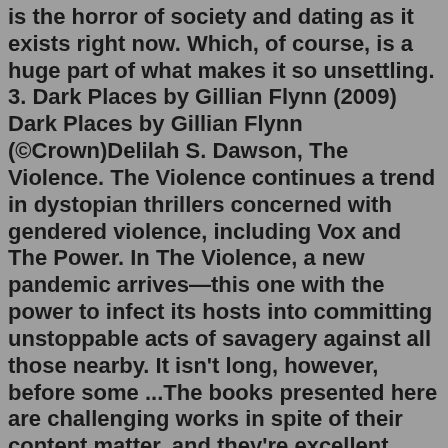is the horror of society and dating as it exists right now. Which, of course, is a huge part of what makes it so unsettling. 3. Dark Places by Gillian Flynn (2009) Dark Places by Gillian Flynn (©Crown)Delilah S. Dawson, The Violence. The Violence continues a trend in dystopian thrillers concerned with gendered violence, including Vox and The Power. In The Violence, a new pandemic arrives—this one with the power to infect its hosts into committing unstoppable acts of savagery against all those nearby. It isn't long, however, before some ...The books presented here are challenging works in spite of their content matter, and they're excellent tools for building vocabulary and critical thinking, two essential skills when you take a standardized test. So with that said, let's get to them, the 8 Best Literary Horror Books! Mary Shelley's Frankenstein: Or, The Modern PrometheusHorror; Booksie is a free online writing site that provides the tools for writers to publish their work and connect with readers from across the world. You can post poems, short stories, books, articles and more. Over